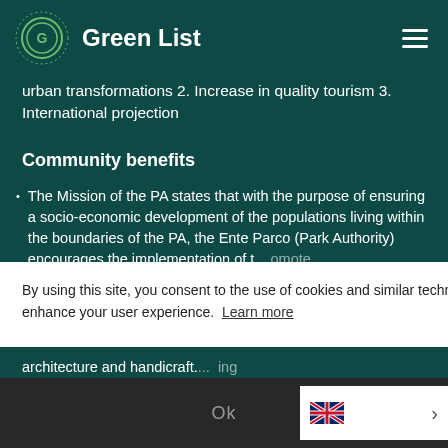Green List
urban transformations 2. Increase in quality tourism 3. International projection
Community benefits
The Mission of the PA states that with the purpose of ensuring a socio-economic development of the populations living within the boundaries of the PA, the Ente Parco (Park Authority) encourages the implementation of t... promote ...nd ...f the ... To ...le ...g
By using this site, you consent to the use of cookies and similar technologies to enhance your user experience. Learn more
Ok
architecture and handicraft. ...ing